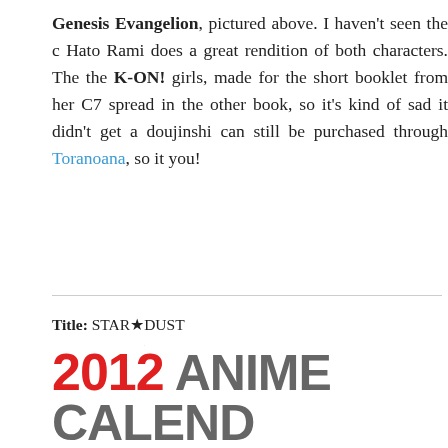Genesis Evangelion, pictured above. I haven't seen the c... Hato Rami does a great rendition of both characters. The... the K-ON! girls, made for the short booklet from her C7... spread in the other book, so it's kind of sad it didn't get ... doujinshi can still be purchased through Toranoana, so it... you!
Title: STAR★DUST
□□□□: STAR★DUST
Release Date: 08/15/2010
Pages: 16 (including covers)
Buy: Toranoana
black rock shooter comiket 78 hato no ta...
THE IDOLM@STER • BLOOD-C • THE WORLD GOD O...
2012 ANIME CALEND...